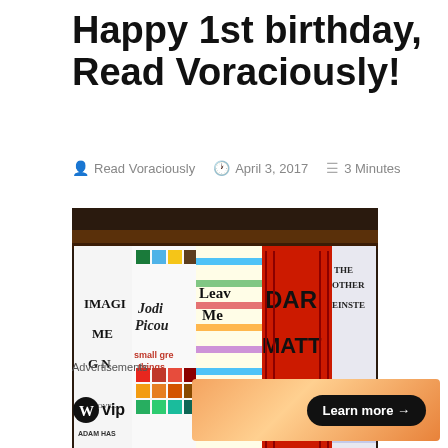Happy 1st birthday, Read Voraciously!
Read Voraciously   April 3, 2017   3 Minutes
[Figure (photo): A row of books on a shelf: Imagine Me Gone by Adam Haslett, Small Great Things by Jodi Picoult, Leave Me by Gayle Forman, Dark Matter by Blake Crouch, and The Other Einstein by Marie Benedict.]
Advertisements
[Figure (other): WordPress VIP logo and an orange advertisement banner with a 'Learn more' button.]